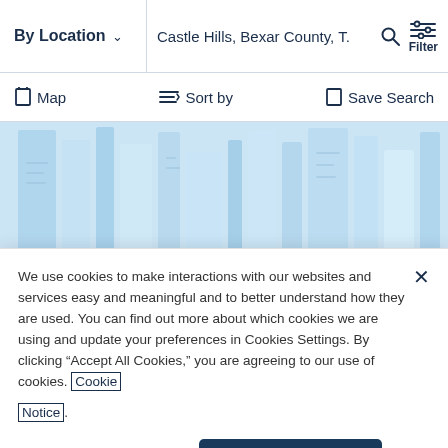By Location  ∨   Castle Hills, Bexar County, T.  Filter
□ Map   ≡↓ Sort by   □ Save Search
[Figure (photo): Light blue property listing image showing building floor plans or documents in background]
2000-2002 West Military Hwy
We use cookies to make interactions with our websites and services easy and meaningful and to better understand how they are used. You can find out more about which cookies we are using and update your preferences in Cookies Settings. By clicking "Accept All Cookies," you are agreeing to our use of cookies. Cookie Notice.
Cookies Settings   Accept All Cookies